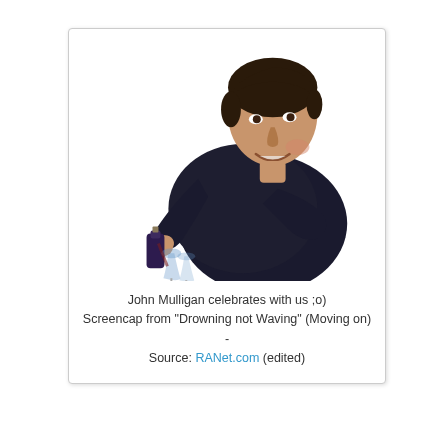[Figure (photo): A man in a dark shirt smiling and pouring wine from a bottle into a glass, photographed against a white background.]
John Mulligan celebrates with us ;o) Screencap from "Drowning not Waving" (Moving on) - Source: RANet.com (edited)